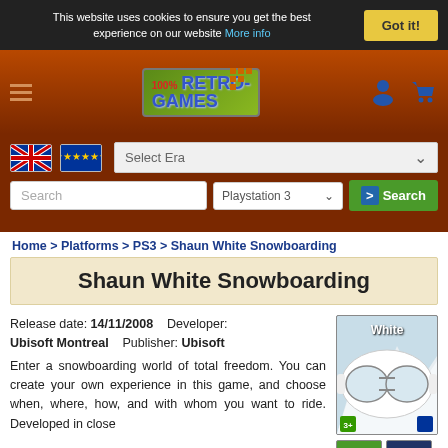This website uses cookies to ensure you get the best experience on our website More info
[Figure (logo): 100% Retro Games website logo with green background and blue text]
Select Era
Search
Playstation 3
> Search
Home > Platforms > PS3 > Shaun White Snowboarding
Shaun White Snowboarding
Release date: 14/11/2008   Developer: Ubisoft Montreal   Publisher: Ubisoft
Enter a snowboarding world of total freedom. You can create your own experience in this game, and choose when, where, how, and with whom you want to ride. Developed in close
[Figure (photo): Shaun White Snowboarding PS3 game cover showing white snowboard goggles with snowy mountain scene]